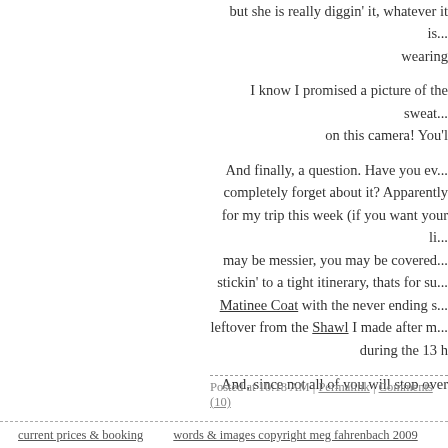but she is really diggin' it, whatever it is... wearing
I know I promised a picture of the sweat... on this camera!  You'l
And finally, a question.  Have you ev... completely forget about it?  Apparently for my trip this week (if you want your li... may be messier, you may be covered... stickin' to a tight itinerary, thats for su... Matinee Coat with the never ending s... leftover from the Shawl I made after m... during the 13 h
And, since not all of you will stop over a... when you started your babyies on fo... veggies?  Thaya sure loves th
See you on the oth
Posted at 10:18 AM | Permalink | Comments (10)
current prices & booking     words & images copyright meg fahrenbach 2009